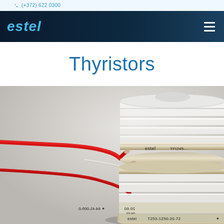(+372) 622 0300
[Figure (logo): estel company logo in italic bold light blue text on dark navy background]
Thyristors
[Figure (photo): Close-up photo of estel branded thyristors (power semiconductor devices). Two disc-shaped thyristors are visible with ceramic/metal construction. Red and white trigger wires are attached. Labels visible: 'estel TFI245-...', 'T253-1250-20-72', '20.60', '09.02', '0-500-14-64']